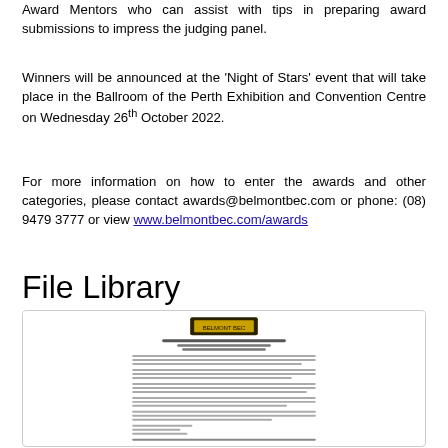Award Mentors who can assist with tips in preparing award submissions to impress the judging panel.
Winners will be announced at the 'Night of Stars' event that will take place in the Ballroom of the Perth Exhibition and Convention Centre on Wednesday 26th October 2022.
For more information on how to enter the awards and other categories, please contact awards@belmontbec.com or phone: (08) 9479 3777 or view www.belmontbec.com/awards
File Library
[Figure (screenshot): Thumbnail screenshot of a document page with a logo at top and dense text body, appearing to be an awards-related document from Belmont BEC.]